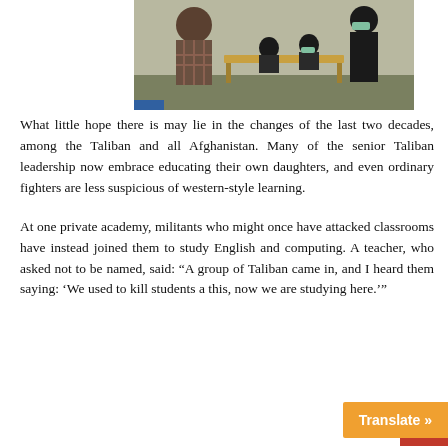[Figure (photo): Classroom scene showing female students wearing hijabs and masks seated at a desk with a teacher or instructor standing nearby in a classroom setting.]
What little hope there is may lie in the changes of the last two decades, among the Taliban and all Afghanistan. Many of the senior Taliban leadership now embrace educating their own daughters, and even ordinary fighters are less suspicious of western-style learning.
At one private academy, militants who might once have attacked classrooms have instead joined them to study English and computing. A teacher, who asked not to be named, said: “A group of Taliban came in, and I heard them saying: ‘We used to kill students a this, now we are studying here.’”